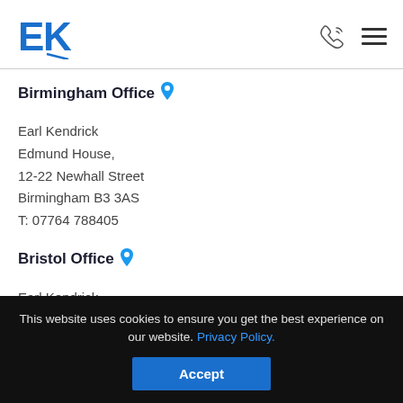EK logo with phone and menu icons
Birmingham Office
Earl Kendrick
Edmund House,
12-22 Newhall Street
Birmingham B3 3AS
T: 07764 788405
Bristol Office
Earl Kendrick
Bristol Castle Park
All Saints' Street
Bristol BS1 2LZ
This website uses cookies to ensure you get the best experience on our website. Privacy Policy.
Accept